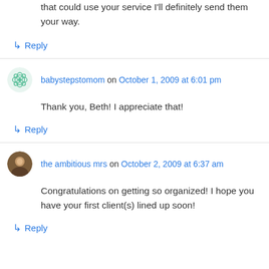that could use your service I'll definitely send them your way.
↳ Reply
babystepstomom on October 1, 2009 at 6:01 pm
Thank you, Beth! I appreciate that!
↳ Reply
the ambitious mrs on October 2, 2009 at 6:37 am
Congratulations on getting so organized! I hope you have your first client(s) lined up soon!
↳ Reply